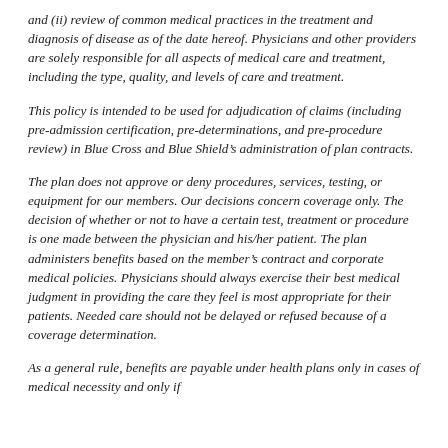and (ii) review of common medical practices in the treatment and diagnosis of disease as of the date hereof. Physicians and other providers are solely responsible for all aspects of medical care and treatment, including the type, quality, and levels of care and treatment.
This policy is intended to be used for adjudication of claims (including pre-admission certification, pre-determinations, and pre-procedure review) in Blue Cross and Blue Shield’s administration of plan contracts.
The plan does not approve or deny procedures, services, testing, or equipment for our members. Our decisions concern coverage only. The decision of whether or not to have a certain test, treatment or procedure is one made between the physician and his/her patient. The plan administers benefits based on the member’s contract and corporate medical policies. Physicians should always exercise their best medical judgment in providing the care they feel is most appropriate for their patients. Needed care should not be delayed or refused because of a coverage determination.
As a general rule, benefits are payable under health plans only in cases of medical necessity and only if